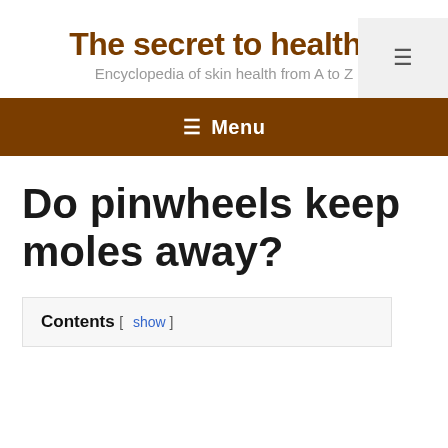The secret to healthy
Encyclopedia of skin health from A to Z
≡ Menu
Do pinwheels keep moles away?
Contents [ show ]